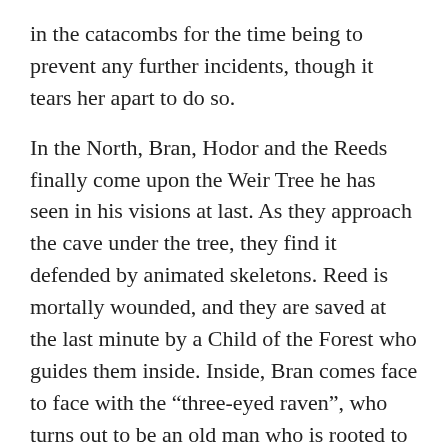in the catacombs for the time being to prevent any further incidents, though it tears her apart to do so.
In the North, Bran, Hodor and the Reeds finally come upon the Weir Tree he has seen in his visions at last. As they approach the cave under the tree, they find it defended by animated skeletons. Reed is mortally wounded, and they are saved at the last minute by a Child of the Forest who guides them inside. Inside, Bran comes face to face with the “three-eyed raven”, who turns out to be an old man who is rooted to the tree. He tells Bran he will regain what he once lost, and learn to fly.
https://i0.wp.com/d1mxyp5ceukbya.cloudfront.net/images/game-of-thrones-season-4-finale-children-arya-hound-illegal-download-hbo.jpg